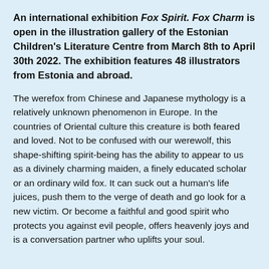An international exhibition Fox Spirit. Fox Charm is open in the illustration gallery of the Estonian Children's Literature Centre from March 8th to April 30th 2022. The exhibition features 48 illustrators from Estonia and abroad.
The werefox from Chinese and Japanese mythology is a relatively unknown phenomenon in Europe. In the countries of Oriental culture this creature is both feared and loved. Not to be confused with our werewolf, this shape-shifting spirit-being has the ability to appear to us as a divinely charming maiden, a finely educated scholar or an ordinary wild fox. It can suck out a human's life juices, push them to the verge of death and go look for a new victim. Or become a faithful and good spirit who protects you against evil people, offers heavenly joys and is a conversation partner who uplifts your soul.